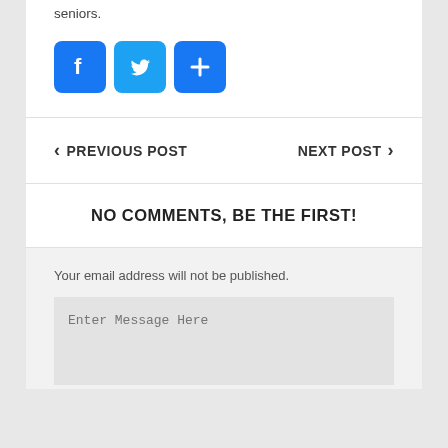seniors.
[Figure (infographic): Three social sharing buttons: Facebook (f icon), Twitter (bird icon), and a plus/share button, all with blue rounded square backgrounds.]
< PREVIOUS POST    NEXT POST >
NO COMMENTS, BE THE FIRST!
Your email address will not be published.
Enter Message Here